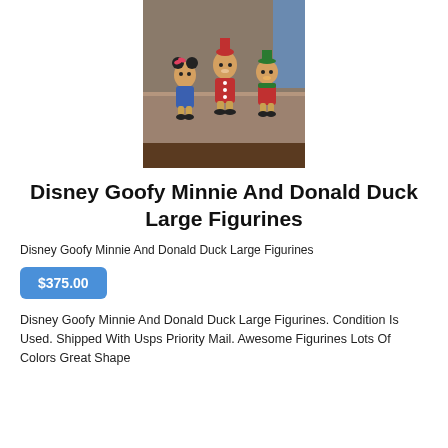[Figure (photo): Three Disney character figurines (Minnie Mouse, Goofy, and Donald Duck) standing on a table surface]
Disney Goofy Minnie And Donald Duck Large Figurines
Disney Goofy Minnie And Donald Duck Large Figurines
$375.00
Disney Goofy Minnie And Donald Duck Large Figurines. Condition Is Used. Shipped With Usps Priority Mail. Awesome Figurines Lots Of Colors Great Shape